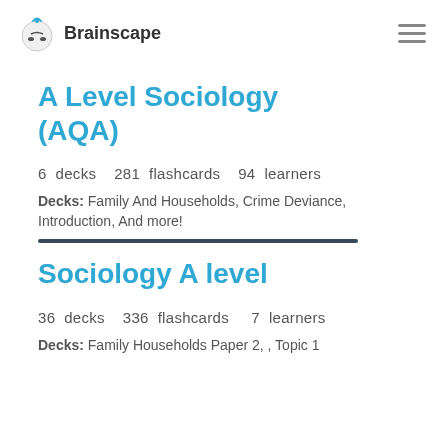Brainscape
A Level Sociology (AQA)
6 decks   281 flashcards   94 learners
Decks: Family And Households, Crime Deviance, Introduction, And more!
Sociology A level
36 decks   336 flashcards   7 learners
Decks: Family Households Paper 2, , Topic 1